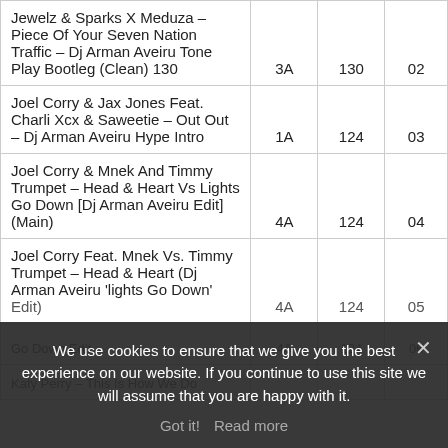| Title | Key | BPM | # |
| --- | --- | --- | --- |
| Jewelz & Sparks X Meduza – Piece Of Your Seven Nation Traffic – Dj Arman Aveiru Tone Play Bootleg (Clean) 130 | 3A | 130 | 02 |
| Joel Corry & Jax Jones Feat. Charli Xcx & Saweetie – Out Out – Dj Arman Aveiru Hype Intro | 1A | 124 | 03 |
| Joel Corry & Mnek And Timmy Trumpet – Head & Heart Vs Lights Go Down [Dj Arman Aveiru Edit] (Main) | 4A | 124 | 04 |
| Joel Corry Feat. Mnek Vs. Timmy Trumpet – Head & Heart (Dj Arman Aveiru 'lights Go Down' Edit) | 4A | 124 | 05 |
| [partial row obscured] | 4A | 124 | 06 |
| Katy Perry – This Is How We Do |  |  |  |
We use cookies to ensure that we give you the best experience on our website. If you continue to use this site we will assume that you are happy with it.